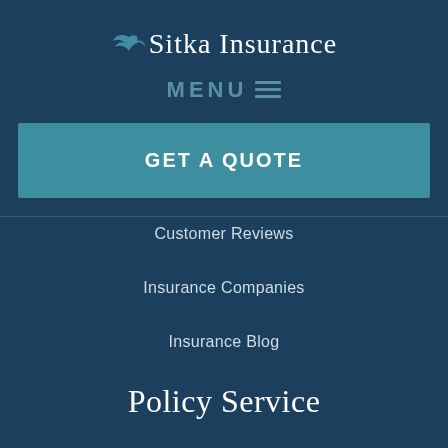Sitka Insurance
MENU ☰
GET A QUOTE
Customer Reviews
Insurance Companies
Insurance Blog
Policy Service